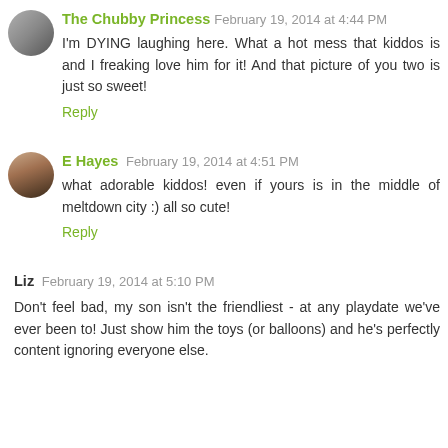The Chubby Princess February 19, 2014 at 4:44 PM
I'm DYING laughing here. What a hot mess that kiddos is and I freaking love him for it! And that picture of you two is just so sweet!
Reply
E Hayes February 19, 2014 at 4:51 PM
what adorable kiddos! even if yours is in the middle of meltdown city :) all so cute!
Reply
Liz February 19, 2014 at 5:10 PM
Don't feel bad, my son isn't the friendliest - at any playdate we've ever been to! Just show him the toys (or balloons) and he's perfectly content ignoring everyone else.